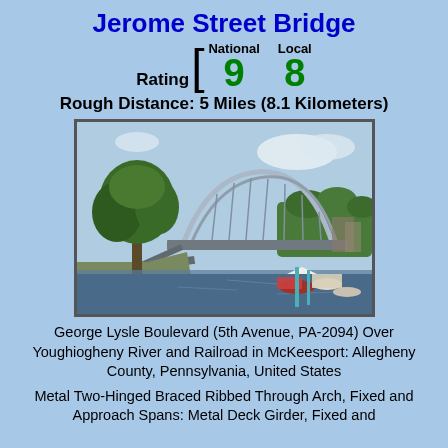Jerome Street Bridge
Rating [ National 9  Local 8
Rough Distance: 5 Miles (8.1 Kilometers)
[Figure (photo): Photo of Jerome Street Bridge, a metal through arch bridge, viewed from the riverbank near a marina with boats. Large tree in foreground, bridge arches visible against a partly cloudy sky.]
George Lysle Boulevard (5th Avenue, PA-2094) Over Youghiogheny River and Railroad in McKeesport: Allegheny County, Pennsylvania, United States
Metal Two-Hinged Braced Ribbed Through Arch, Fixed and Approach Spans: Metal Deck Girder, Fixed and